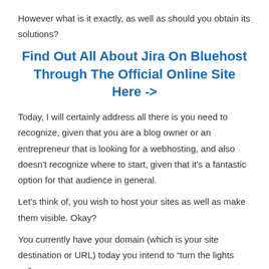However what is it exactly, as well as should you obtain its solutions?
Find Out All About Jira On Bluehost Through The Official Online Site Here ->
Today, I will certainly address all there is you need to recognize, given that you are a blog owner or an entrepreneur that is looking for a webhosting, and also doesn't recognize where to start, given that it's a fantastic option for that audience in general.
Let's think of, you wish to host your sites as well as make them visible. Okay?
You currently have your domain (which is your site destination or URL) today you intend to “turn the lights on”.
You require some hosting…